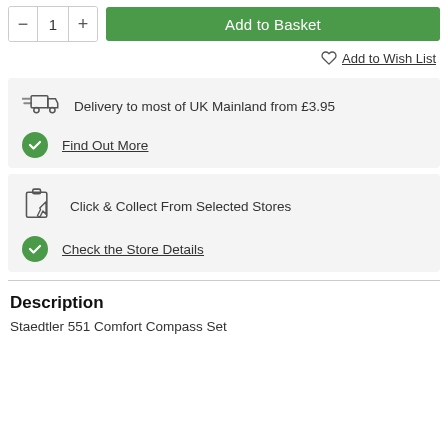Add to Basket (button with quantity selector showing 1)
Add to Wish List
Delivery to most of UK Mainland from £3.95
Find Out More
Click & Collect From Selected Stores
Check the Store Details
Description
Staedtler 551 Comfort Compass Set